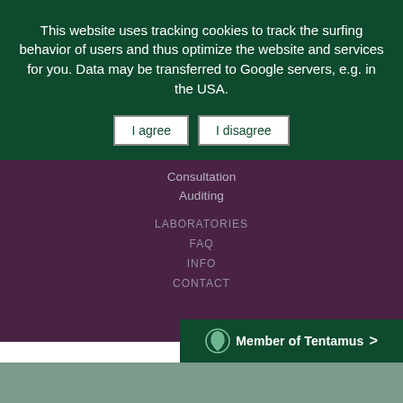This website uses tracking cookies to track the surfing behavior of users and thus optimize the website and services for you. Data may be transferred to Google servers, e.g. in the USA.
I agree  |  I disagree
Consultation
Auditing
LABORATORIES
FAQ
INFO
CONTACT
Member of Tentamus >